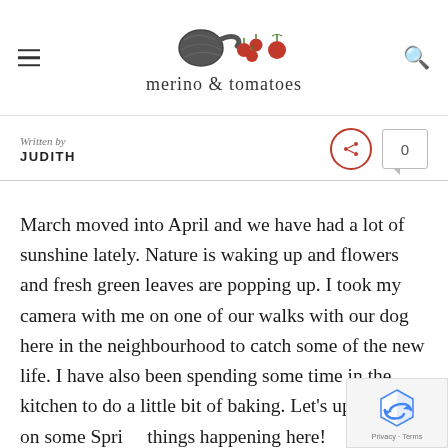merino & tomatoes
Written by
JUDITH
March moved into April and we have had a lot of sunshine lately. Nature is waking up and flowers and fresh green leaves are popping up. I took my camera with me on one of our walks with our dog here in the neighbourhood to catch some of the new life. I have also been spending some time in the kitchen to do a little bit of baking. Let's update you on some Spring things happening here!